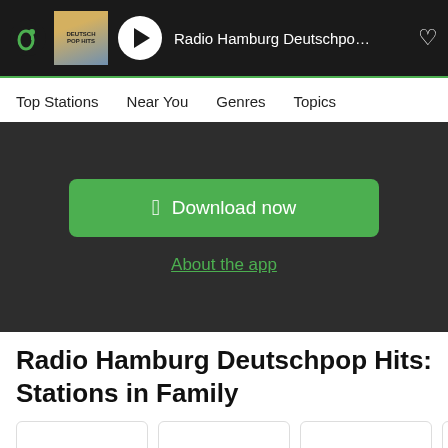Radio Hamburg Deutschpo... [player bar with logo, album art, play button, heart icon]
Top Stations   Near You   Genres   Topics
[Figure (screenshot): Green Download now button with Apple logo]
About the app
Radio Hamburg Deutschpop Hits: Stations in Family
[Figure (other): Row of station cards (partially visible)]